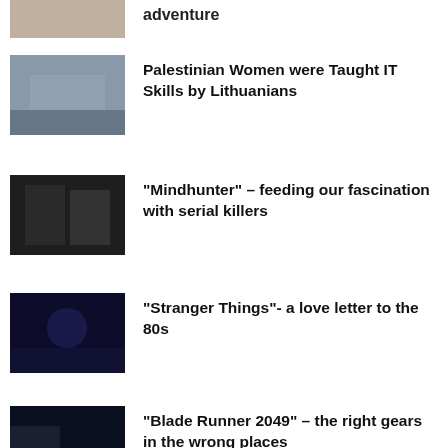[Figure (photo): Partial top image - adventure article thumbnail]
adventure
[Figure (photo): City skyline photo thumbnail]
Palestinian Women were Taught IT Skills by Lithuanians
[Figure (photo): Two men in suits sitting at a table - Mindhunter thumbnail]
"Mindhunter" – feeding our fascination with serial killers
[Figure (photo): Stranger Things poster thumbnail]
"Stranger Things"- a love letter to the 80s
[Figure (photo): Blade Runner 2049 neon city thumbnail]
"Blade Runner 2049" – the right gears in the wrong places
[Figure (photo): Partial bottom article thumbnail]